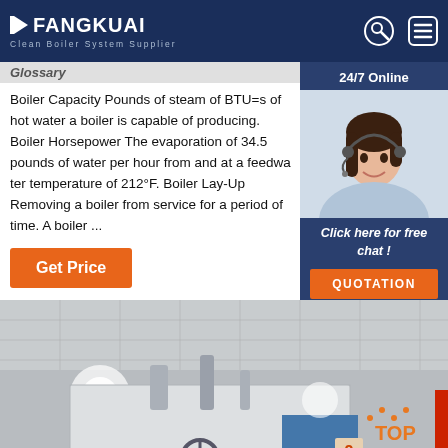FANGKUAI Clean Boiler System Supplier
Glossary
Boiler Capacity Pounds of steam of BTU=s of hot water a boiler is capable of producing. Boiler Horsepower The evaporation of 34.5 pounds of water per hour from and at a feedwater temperature of 212°F. Boiler Lay-Up Removing a boiler from service for a period of time. A boiler ...
[Figure (photo): Customer service representative with headset, 24/7 Online chat widget overlay]
Get Price
[Figure (photo): Industrial boiler system in a facility, showing pipes, valves, and equipment with 'TOP' badge in lower right corner]